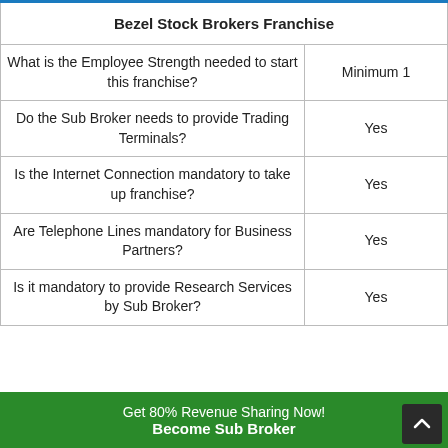| Bezel Stock Brokers Franchise |  |
| --- | --- |
| What is the Employee Strength needed to start this franchise? | Minimum 1 |
| Do the Sub Broker needs to provide Trading Terminals? | Yes |
| Is the Internet Connection mandatory to take up franchise? | Yes |
| Are Telephone Lines mandatory for Business Partners? | Yes |
| Is it mandatory to provide Research Services by Sub Broker? | Yes |
Get 80% Revenue Sharing Now! Become Sub Broker